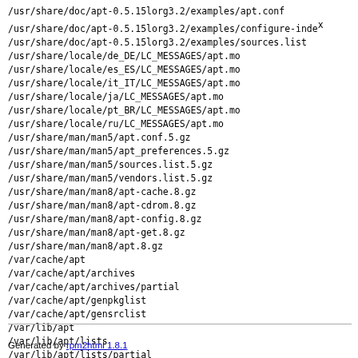/usr/share/doc/apt-0.5.15lorg3.2/examples/apt.conf
/usr/share/doc/apt-0.5.15lorg3.2/examples/configure-index
/usr/share/doc/apt-0.5.15lorg3.2/examples/sources.list
/usr/share/locale/de_DE/LC_MESSAGES/apt.mo
/usr/share/locale/es_ES/LC_MESSAGES/apt.mo
/usr/share/locale/it_IT/LC_MESSAGES/apt.mo
/usr/share/locale/ja/LC_MESSAGES/apt.mo
/usr/share/locale/pt_BR/LC_MESSAGES/apt.mo
/usr/share/locale/ru/LC_MESSAGES/apt.mo
/usr/share/man/man5/apt.conf.5.gz
/usr/share/man/man5/apt_preferences.5.gz
/usr/share/man/man5/sources.list.5.gz
/usr/share/man/man5/vendors.list.5.gz
/usr/share/man/man8/apt-cache.8.gz
/usr/share/man/man8/apt-cdrom.8.gz
/usr/share/man/man8/apt-config.8.gz
/usr/share/man/man8/apt-get.8.gz
/usr/share/man/man8/apt.8.gz
/var/cache/apt
/var/cache/apt/archives
/var/cache/apt/archives/partial
/var/cache/apt/genpkglist
/var/cache/apt/gensrclist
/var/lib/apt
/var/lib/apt/lists
/var/lib/apt/lists/partial
Generated by rpm2html 1.8.1